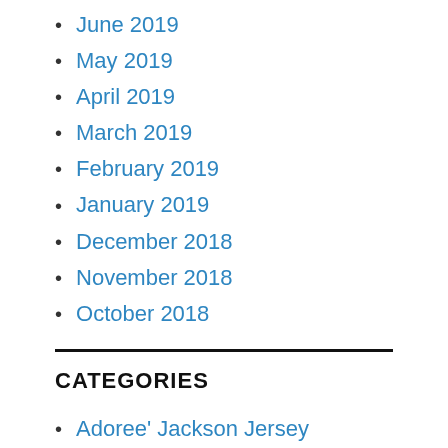June 2019
May 2019
April 2019
March 2019
February 2019
January 2019
December 2018
November 2018
October 2018
CATEGORIES
Adoree' Jackson Jersey
Ahkello Witherspoon Jersey